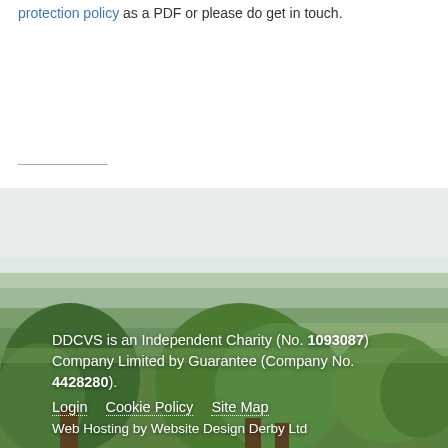protection policy as a PDF or please do get in touch.
[Figure (photo): Aerial countryside landscape view showing green fields, trees, and a village in the distance, taken in autumn.]
DDCVS is an Independent Charity (No. 1093087) Company Limited by Guarantee (Company No. 4428280).
Login | Cookie Policy | Site Map
Web Hosting by Website Design Derby Ltd